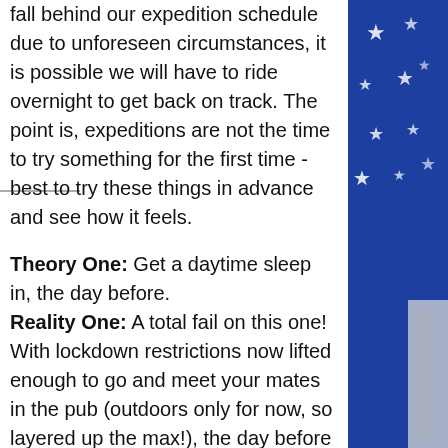fall behind our expedition schedule due to unforeseen circumstances, it is possible we will have to ride overnight to get back on track. The point is, expeditions are not the time to try something for the first time - best to try these things in advance and see how it feels.
Theory One: Get a daytime sleep in, the day before. Reality One: A total fail on this one! With lockdown restrictions now lifted enough to go and meet your mates in the pub (outdoors only for now, so layered up the max!), the day before was filled with freezing, but ace, beer garden catch ups. I had set aside a
[Figure (photo): Partial view of a blue American flag with white stars visible on the right side of the page]